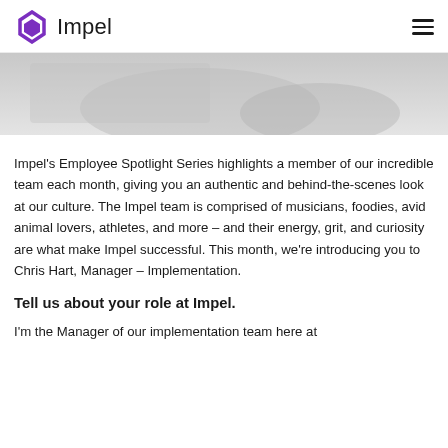Impel
[Figure (photo): Partial background hero image, light gray, appears to show a person or scene, cropped at top of content area]
Impel's Employee Spotlight Series highlights a member of our incredible team each month, giving you an authentic and behind-the-scenes look at our culture. The Impel team is comprised of musicians, foodies, avid animal lovers, athletes, and more – and their energy, grit, and curiosity are what make Impel successful. This month, we're introducing you to Chris Hart, Manager – Implementation.
Tell us about your role at Impel.
I'm the Manager of our implementation team here at